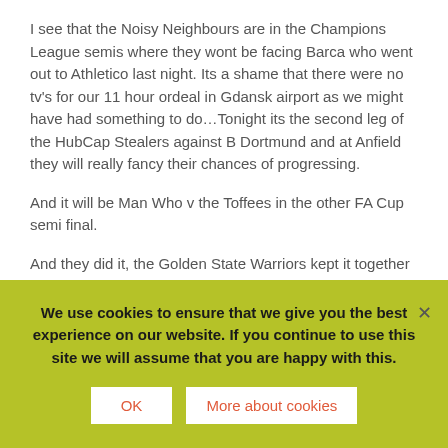I see that the Noisy Neighbours are in the Champions League semis where they wont be facing Barca who went out to Athletico last night. Its a shame that there were no tv's for our 11 hour ordeal in Gdansk airport as we might have had something to do…Tonight its the second leg of the HubCap Stealers against B Dortmund and at Anfield they will really fancy their chances of progressing.
And it will be Man Who v the Toffees in the other FA Cup semi final.
And they did it, the Golden State Warriors kept it together long enough to win the 73rd game and take the record,
We use cookies to ensure that we give you the best experience on our website. If you continue to use this site we will assume that you are happy with this.